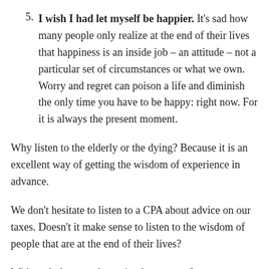5. I wish I had let myself be happier. It's sad how many people only realize at the end of their lives that happiness is an inside job – an attitude – not a particular set of circumstances or what we own. Worry and regret can poison a life and diminish the only time you have to be happy: right now. For it is always the present moment.
Why listen to the elderly or the dying? Because it is an excellent way of getting the wisdom of experience in advance.
We don't hesitate to listen to a CPA about advice on our taxes. Doesn't it make sense to listen to the wisdom of people that are at the end of their lives?
With each day – each passing hour – our future grows shorter. That's why it's [Follow button overlay] etermine who and what are most important to